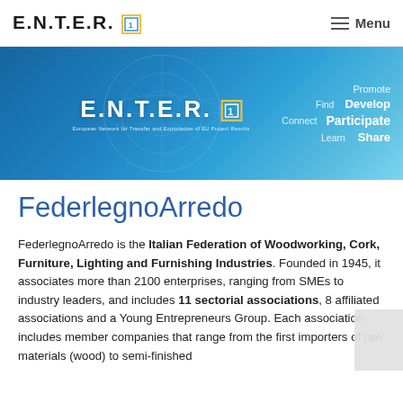E.N.T.E.R. [logo] Menu
[Figure (screenshot): ENTER project banner with blue globe background, E.N.T.E.R. logo centered, and navigation words: Promote, Find, Develop, Connect, Participate, Learn, Share on the right side]
FederlegnoArredo
FederlegnoArredo is the Italian Federation of Woodworking, Cork, Furniture, Lighting and Furnishing Industries. Founded in 1945, it associates more than 2100 enterprises, ranging from SMEs to industry leaders, and includes 11 sectorial associations, 8 affiliated associations and a Young Entrepreneurs Group. Each association includes member companies that range from the first importers of raw materials (wood) to semi-finished